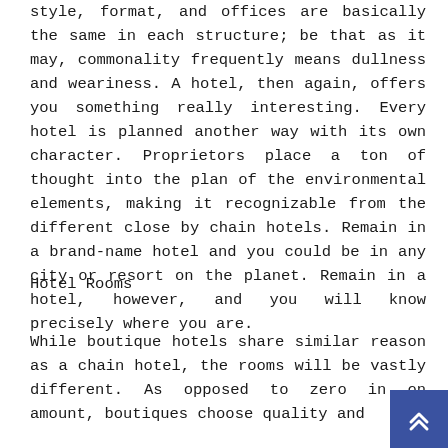style, format, and offices are basically the same in each structure; be that as it may, commonality frequently means dullness and weariness. A hotel, then again, offers you something really interesting. Every hotel is planned another way with its own character. Proprietors place a ton of thought into the plan of the environmental elements, making it recognizable from the different close by chain hotels. Remain in a brand-name hotel and you could be in any city or resort on the planet. Remain in a hotel, however, and you will know precisely where you are.
Hotel Rooms
While boutique hotels share similar reason as a chain hotel, the rooms will be vastly different. As opposed to zero in on amount, boutiques choose quality and